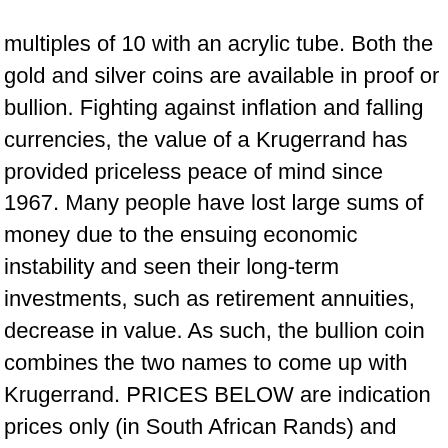multiples of 10 with an acrylic tube. Both the gold and silver coins are available in proof or bullion. Fighting against inflation and falling currencies, the value of a Krugerrand has provided priceless peace of mind since 1967. Many people have lost large sums of money due to the ensuing economic instability and seen their long-term investments, such as retirement annuities, decrease in value. As such, the bullion coin combines the two names to come up with Krugerrand. PRICES BELOW are indication prices only (in South African Rands) and fluctuate according to the GOLD price, R/$ exchange rate, at the time of trade and quantity of coins traded 08H00 (South African Time) 06/01/2021 and only valid until 12H00. The coin has an incredible design, has a beautiful finish and comes in an elegant case, along with the Certificate of Authenticity. We use cookies to give you the best experience on our website and to customise marketing content.By continuing to browse you consent to receive all cookies. Purity: 99.9 %. Registered Office: Floor 16, Centre City Tower, 7 Hill Street, Birmingham, United